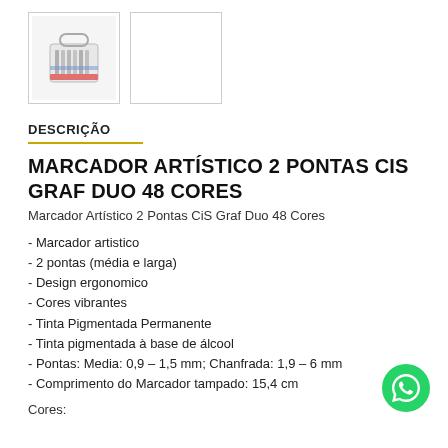[Figure (photo): Thumbnail image of Marcador Artístico 2 Pontas CiS Graf Duo 48 Cores product box]
[Figure (photo): Second thumbnail placeholder, empty white box with border]
DESCRIÇÃO
MARCADOR ARTÍSTICO 2 PONTAS CIS GRAF DUO 48 CORES
Marcador Artístico 2 Pontas CiS Graf Duo 48 Cores
- Marcador artistico
- 2 pontas (média e larga)
- Design ergonomico
- Cores vibrantes
- Tinta Pigmentada Permanente
- Tinta pigmentada à base de álcool
- Pontas: Media: 0,9 – 1,5 mm; Chanfrada: 1,9 – 6 mm
- Comprimento do Marcador tampado: 15,4 cm
Cores: